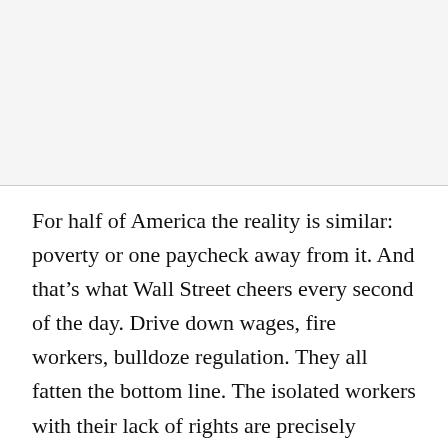For half of America the reality is similar: poverty or one paycheck away from it. And that's what Wall Street cheers every second of the day. Drive down wages, fire workers, bulldoze regulation. They all fatten the bottom line. The isolated workers with their lack of rights are precisely whom the occupiers were fighting for. Some of the workers know it, but they can't see beyond the gulf of fear to risk for something better. Many of the occupiers are willing to take great risks.